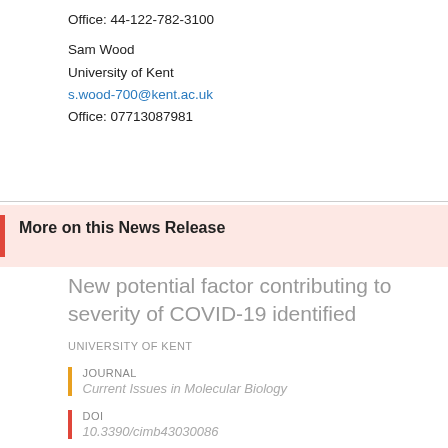Office: 44-122-782-3100
Sam Wood
University of Kent
s.wood-700@kent.ac.uk
Office: 07713087981
More on this News Release
New potential factor contributing to severity of COVID-19 identified
UNIVERSITY OF KENT
JOURNAL
Current Issues in Molecular Biology
DOI
10.3390/cimb43030086